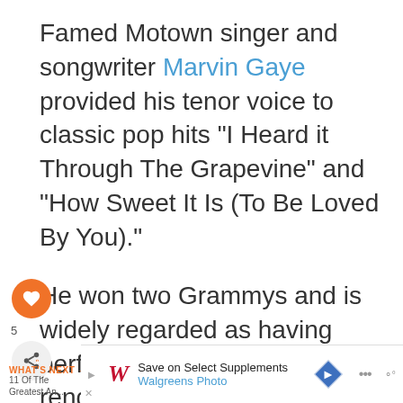Famed Motown singer and songwriter Marvin Gaye provided his tenor voice to classic pop hits "I Heard it Through The Grapevine" and "How Sweet It Is (To Be Loved By You)."
He won two Grammys and is widely regarded as having performed one of the great renditions of the "Star-Spangled Banner" at the opening of the 1983 NBA All-Star Game.
[Figure (other): Social media sidebar with heart/like button showing count 5, and share button]
[Figure (other): What's Next promotional widget: '11 Of The Greatest An...' with orange circle thumbnail]
[Figure (other): Walgreens advertisement banner: 'Save on Select Supplements / Walgreens Photo']